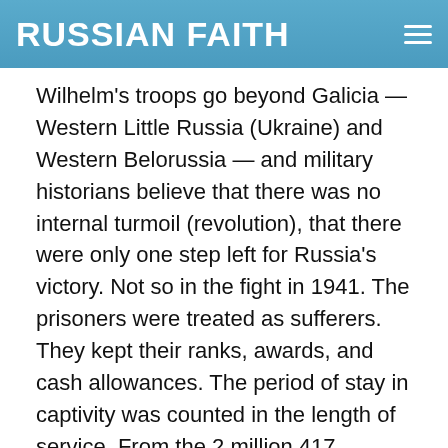RUSSIAN FAITH
Wilhelm's troops go beyond Galicia — Western Little Russia (Ukraine) and Western Belorussia — and military historians believe that there was no internal turmoil (revolution), that there were only one step left for Russia's victory. Not so in the fight in 1941. The prisoners were treated as sufferers. They kept their ranks, awards, and cash allowances. The period of stay in captivity was counted in the length of service. From the 2 million 417 thousand prisoners of the entire war, no more than 5% died.
B) Stalin - After the start of the 2nd World War II 2 weeks did not leave off drinking to check on the country, and never went to the front once...